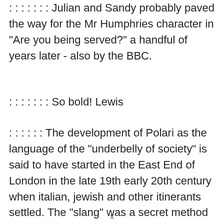: : : : : : : Julian and Sandy probably paved the way for the Mr Humphries character in "Are you being served?" a handful of years later - also by the BBC.
: : : : : : : So bold! Lewis
: : : : : : The development of Polari as the language of the "underbelly of society" is said to have started in the East End of London in the late 19th early 20th century when italian, jewish and other itinerants settled. The "slang" was a secret method of
x